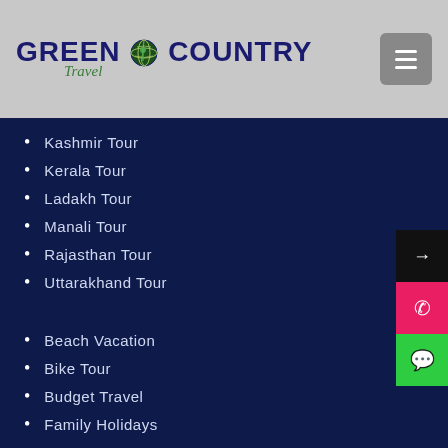Green Country Travel
Kashmir Tour
Kerala Tour
Ladakh Tour
Manali Tour
Rajasthan Tour
Uttarakhand Tour
Beach Vacation
Bike Tour
Budget Travel
Family Holidays
Group Tour
Honeymoon Packages
Island Vacation
New Year Tours
Trekking and Backpacking